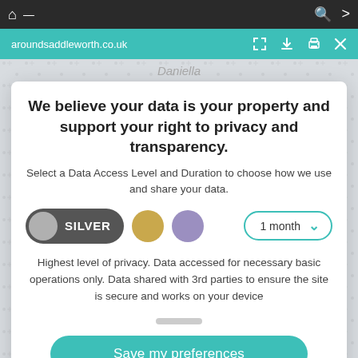aroundsaddleworth.co.uk
We believe your data is your property and support your right to privacy and transparency.
Select a Data Access Level and Duration to choose how we use and share your data.
[Figure (infographic): Privacy data access level selector showing SILVER toggle button (dark grey with grey circle), a gold circle, a purple circle, and a '1 month' dropdown with teal border and chevron.]
Highest level of privacy. Data accessed for necessary basic operations only. Data shared with 3rd parties to ensure the site is secure and works on your device
Save my preferences
Customize   Privacy policy